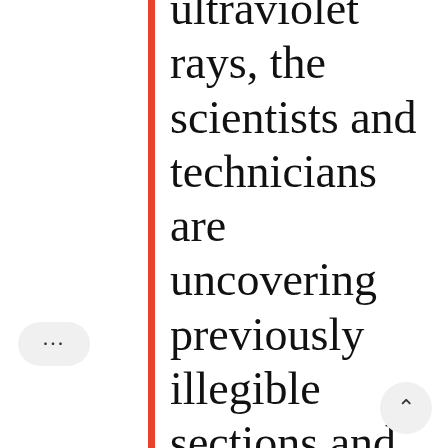ultraviolet rays, the scientists and technicians are uncovering previously illegible sections and letters of the scrolls, discoveries that could have